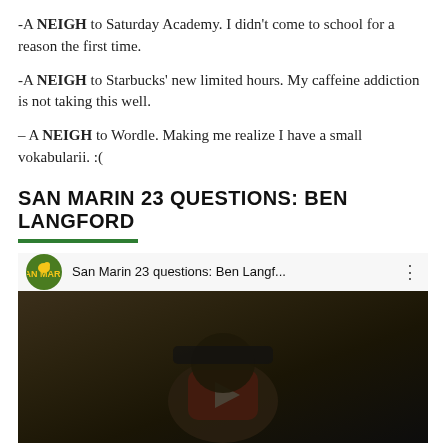-A NEIGH to Saturday Academy. I didn’t come to school for a reason the first time.
-A NEIGH to Starbucks’ new limited hours. My caffeine addiction is not taking this well.
– A NEIGH to Wordle. Making me realize I have a small vokabularii. :(
SAN MARIN 23 QUESTIONS: BEN LANGFORD
[Figure (screenshot): YouTube video thumbnail showing 'San Marin 23 questions: Ben Langf...' with San Marin school logo and a person wearing a cap visible in the video frame with a YouTube play button overlay.]